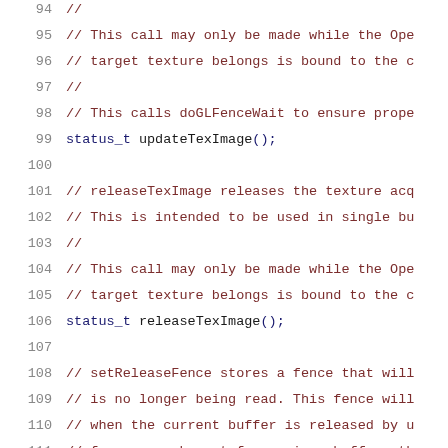Source code listing, lines 94-115, showing C++ header file with comments and method declarations for updateTexImage, releaseTexImage, and setReleaseFence.